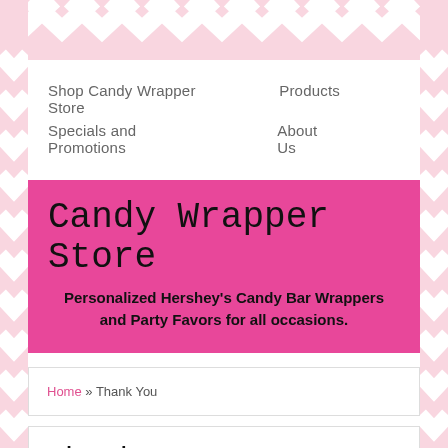Shop Candy Wrapper Store   Products   Specials and Promotions   About Us
Candy Wrapper Store
Personalized Hershey's Candy Bar Wrappers and Party Favors for all occasions.
Home » Thank You
Thank You